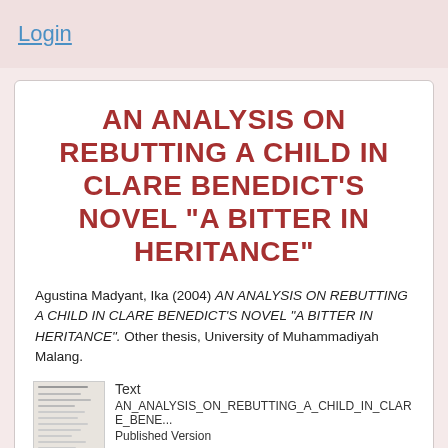Login
AN ANALYSIS ON REBUTTING A CHILD IN CLARE BENEDICT'S NOVEL "A BITTER IN HERITANCE"
Agustina Madyant, Ika (2004) AN ANALYSIS ON REBUTTING A CHILD IN CLARE BENEDICT'S NOVEL "A BITTER IN HERITANCE". Other thesis, University of Muhammadiyah Malang.
Text
AN_ANALYSIS_ON_REBUTTING_A_CHILD_IN_CLARE_BENE...
Published Version